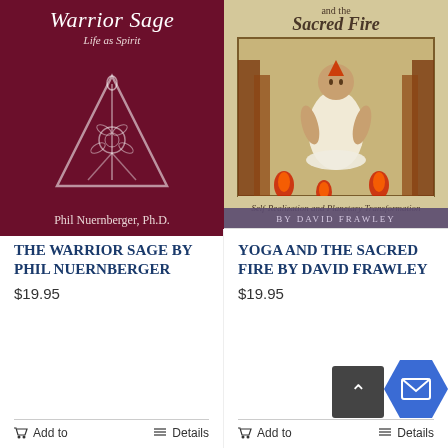[Figure (photo): Book cover of 'Warrior Sage: Life as Spirit' by Phil Nuernberger, Ph.D. Dark maroon/burgundy background with white italic title text and a line drawing of a triangle with a snake/flower motif inside.]
[Figure (photo): Book cover of 'Yoga and the Sacred Fire' by David Frawley. Tan/beige background with illustration of a meditating figure surrounded by trees and flames. Subtitle: 'Self-Realization and Planetary Transformation'.]
The Warrior Sage by Phil Nuernberger
$19.95
Add to
Details
Yoga and the Sacred Fire by David Frawley
$19.95
Add to
Details